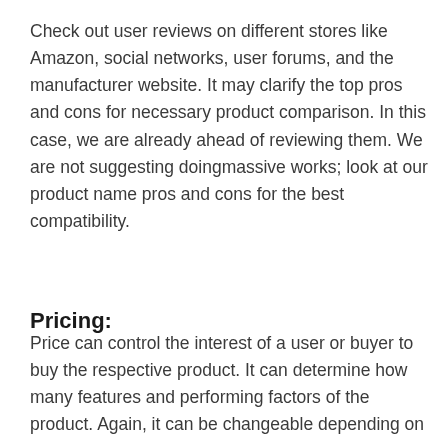Check out user reviews on different stores like Amazon, social networks, user forums, and the manufacturer website. It may clarify the top pros and cons for necessary product comparison. In this case, we are already ahead of reviewing them. We are not suggesting doingmassive works; look at our product name pros and cons for the best compatibility.
Pricing:
Price can control the interest of a user or buyer to buy the respective product. It can determine how many features and performing factors of the product. Again, it can be changeable depending on